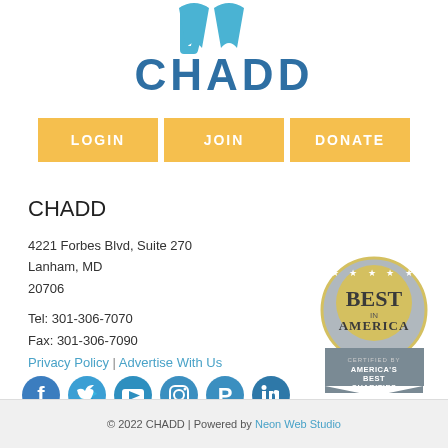[Figure (logo): CHADD logo with blue chevron/tooth shapes above the word CHADD in bold blue letters]
[Figure (infographic): Navigation buttons: LOGIN, JOIN, DONATE in golden/yellow background]
CHADD
4221 Forbes Blvd, Suite 270
Lanham, MD
20706
Tel: 301-306-7070
Fax: 301-306-7090
Privacy Policy | Advertise With Us
[Figure (illustration): Best in America seal certified by America's Best Charities badge]
[Figure (illustration): Social media icons: Facebook, Twitter, YouTube, Instagram, Pinterest, LinkedIn in blue]
© 2022 CHADD | Powered by Neon Web Studio